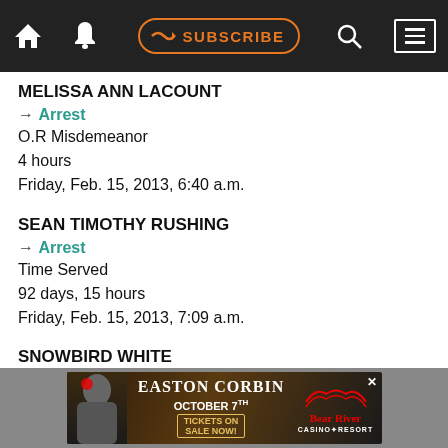Navigation bar with home, bell, SUBSCRIBE, search, and menu icons
MELISSA ANN LACOUNT
→ Arrest
O.R Misdemeanor
4 hours
Friday, Feb. 15, 2013, 6:40 a.m.
SEAN TIMOTHY RUSHING
→ Arrest
Time Served
92 days, 15 hours
Friday, Feb. 15, 2013, 7:09 a.m.
SNOWBIRD WHITE
→ Arrest
Released per PC 849(B)(2)
6 hours
Friday, Feb. 15, 2013, 8:03 a.m.
[Figure (infographic): Advertisement banner for Easton Corbin, October 7th, at Bear River Casino Resort. Tickets on Sale Now.]